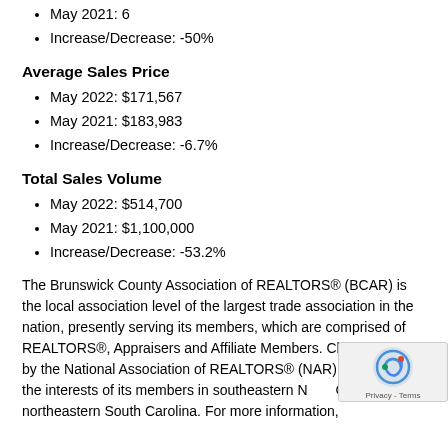May 2021: 6
Increase/Decrease: -50%
Average Sales Price
May 2022: $171,567
May 2021: $183,983
Increase/Decrease: -6.7%
Total Sales Volume
May 2022: $514,700
May 2021: $1,100,000
Increase/Decrease: -53.2%
The Brunswick County Association of REALTORS® (BCAR) is the local association level of the largest trade association in the nation, presently serving its members, which are comprised of REALTORS®, Appraisers and Affiliate Members. Chartered in 1959 by the National Association of REALTORS® (NAR), represents the interests of its members in southeastern North Carolina and northeastern South Carolina. For more information,